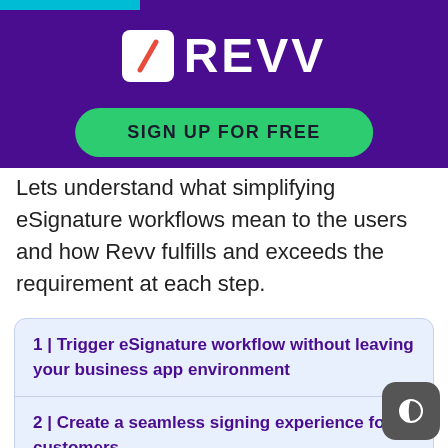[Figure (logo): Revv logo with white slash icon on purple background and green Sign Up For Free button]
Lets understand what simplifying eSignature workflows mean to the users and how Revv fulfills and exceeds the requirement at each step.
1 | Trigger eSignature workflow without leaving your business app environment
2 | Create a seamless signing experience for customers
3 | Maintain a single source of truth with the updated system of records